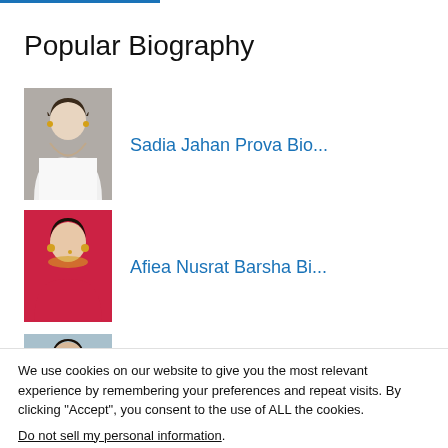Popular Biography
Sadia Jahan Prova Bio...
Afiea Nusrat Barsha Bi...
Pony Bio, Height, Boyf
We use cookies on our website to give you the most relevant experience by remembering your preferences and repeat visits. By clicking “Accept”, you consent to the use of ALL the cookies. Do not sell my personal information.